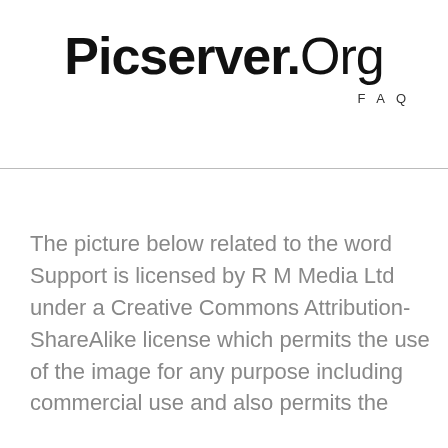Picserver.Org
FAQ
The picture below related to the word Support is licensed by R M Media Ltd under a Creative Commons Attribution-ShareAlike license which permits the use of the image for any purpose including commercial use and also permits the